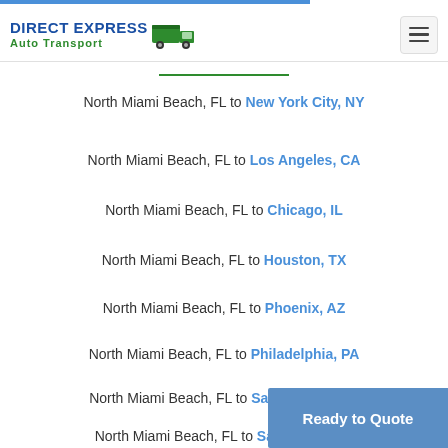DIRECT EXPRESS Auto Transport
North Miami Beach, FL to New York City, NY
North Miami Beach, FL to Los Angeles, CA
North Miami Beach, FL to Chicago, IL
North Miami Beach, FL to Houston, TX
North Miami Beach, FL to Phoenix, AZ
North Miami Beach, FL to Philadelphia, PA
North Miami Beach, FL to San Antonio, TX
North Miami Beach, FL to San Diego, CA
Ready to Quote